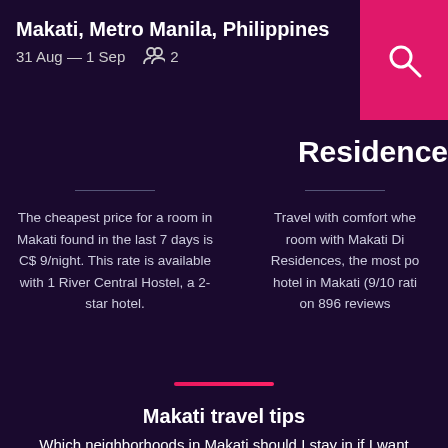Makati, Metro Manila, Philippines
31 Aug — 1 Sep  👥 2
Residence
The cheapest price for a room in Makati found in the last 7 days is C$ 9/night. This rate is available with 1 River Central Hostel, a 2-star hotel.
Travel with comfort when room with Makati Di Residences, the most po hotel in Makati (9/10 rati on 896 reviews
Makati travel tips
Which neighborhoods in Makati should I stay in if I want